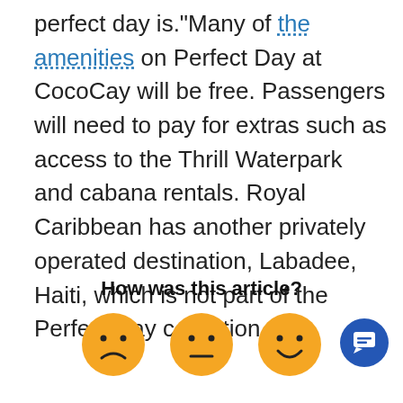perfect day is."Many of the amenities on Perfect Day at CocoCay will be free. Passengers will need to pay for extras such as access to the Thrill Waterpark and cabana rentals. Royal Caribbean has another privately operated destination, Labadee, Haiti, which is not part of the Perfect Day collection.
How was this article?
[Figure (infographic): Three emoji feedback buttons: sad face, neutral face, and happy/smiley face, all in orange/yellow color.]